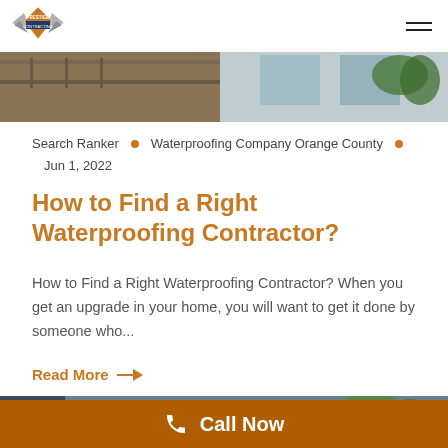[Figure (logo): Prestige company logo with wings and diamond shape]
[Figure (photo): Top photo strip showing building exterior with railing and windows]
Search Ranker • Waterproofing Company Orange County •
Jun 1, 2022
How to Find a Right Waterproofing Contractor?
How to Find a Right Waterproofing Contractor? When you get an upgrade in your home, you will want to get it done by someone who...
Read More →
[Figure (photo): Bottom photo strip showing rooftop with white flat roof and surrounding trees]
Call Now